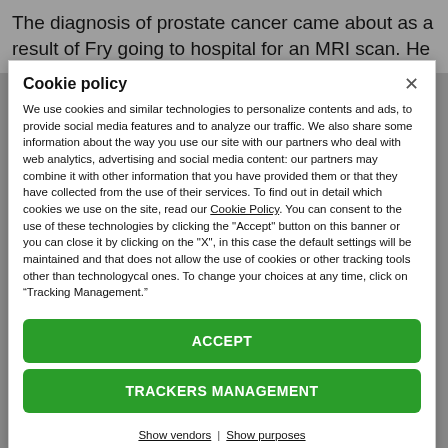The diagnosis of prostate cancer came about as a result of Fry going to hospital for an MRI scan. He
Cookie policy
We use cookies and similar technologies to personalize contents and ads, to provide social media features and to analyze our traffic. We also share some information about the way you use our site with our partners who deal with web analytics, advertising and social media content: our partners may combine it with other information that you have provided them or that they have collected from the use of their services. To find out in detail which cookies we use on the site, read our Cookie Policy. You can consent to the use of these technologies by clicking the "Accept" button on this banner or you can close it by clicking on the "X", in this case the default settings will be maintained and that does not allow the use of cookies or other tracking tools other than technologycal ones. To change your choices at any time, click on “Tracking Management.”
ACCEPT
TRACKERS MANAGEMENT
Show vendors | Show purposes